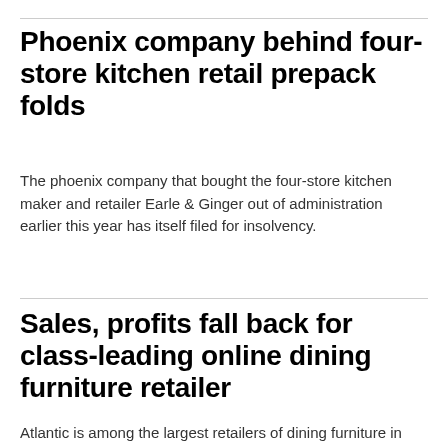Phoenix company behind four-store kitchen retail prepack folds
The phoenix company that bought the four-store kitchen maker and retailer Earle & Ginger out of administration earlier this year has itself filed for insolvency.
Sales, profits fall back for class-leading online dining furniture retailer
Atlantic is among the largest retailers of dining furniture in Britain.